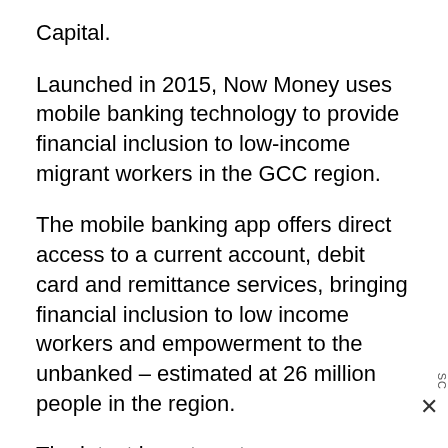Capital.
Launched in 2015, Now Money uses mobile banking technology to provide financial inclusion to low-income migrant workers in the GCC region.
The mobile banking app offers direct access to a current account, debit card and remittance services, bringing financial inclusion to low income workers and empowerment to the unbanked – estimated at 26 million people in the region.
The latest investment comes a year after the company's initial seed funding, which was used to expand the team and develop the technology and